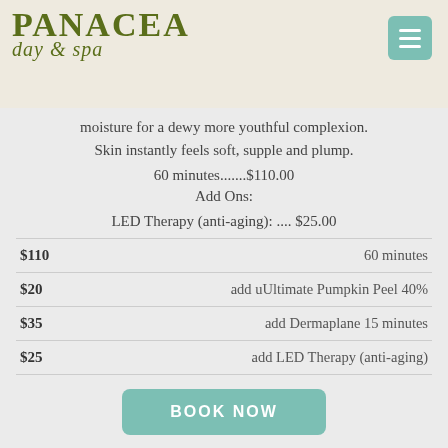Panacea day & spa
moisture for a dewy more youthful complexion. Skin instantly feels soft, supple and plump.
60 minutes.......$110.00
Add Ons:
LED Therapy (anti-aging): .... $25.00
| Price | Description |
| --- | --- |
| $110 | 60 minutes |
| $20 | add uUltimate Pumpkin Peel 40% |
| $35 | add Dermaplane 15 minutes |
| $25 | add LED Therapy (anti-aging) |
BOOK NOW